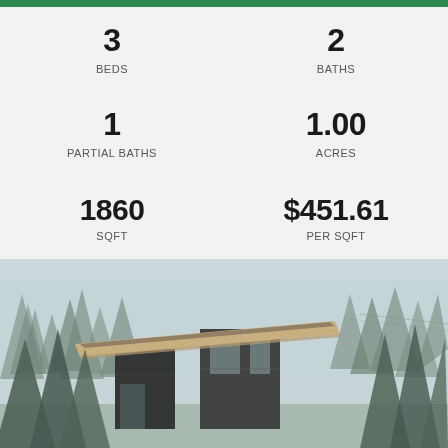3
BEDS
2
BATHS
1
PARTIAL BATHS
1.00
ACRES
1860
SQFT
$451.61
PER SQFT
[Figure (photo): Modern dark wood cabin house with large flat roof overhang, surrounded by tall pine trees in a misty forest setting.]